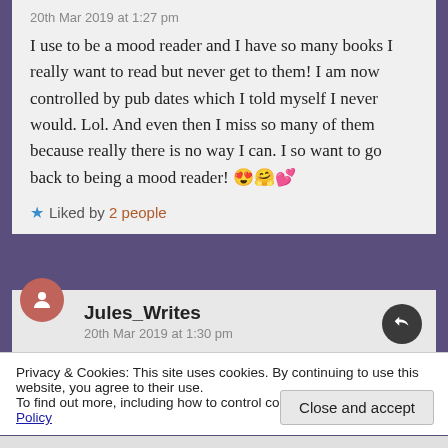20th Mar 2019 at 1:27 pm
I use to be a mood reader and I have so many books I really want to read but never get to them! I am now controlled by pub dates which I told myself I never would. Lol. And even then I miss so many of them because really there is no way I can. I so want to go back to being a mood reader! 😍🤗💕
★ Liked by 2 people
Jules_Writes
20th Mar 2019 at 1:30 pm
Privacy & Cookies: This site uses cookies. By continuing to use this website, you agree to their use.
To find out more, including how to control cookies, see here: Cookie Policy